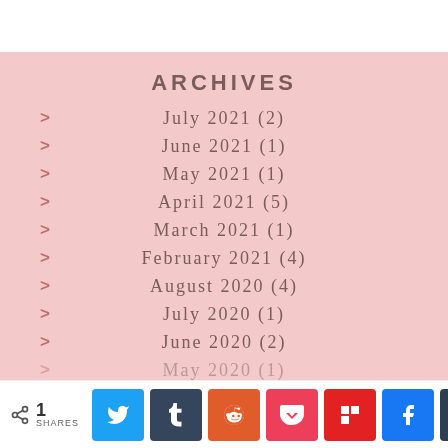ARCHIVES
July 2021 (2)
June 2021 (1)
May 2021 (1)
April 2021 (5)
March 2021 (1)
February 2021 (4)
August 2020 (4)
July 2020 (1)
June 2020 (2)
May 2020 (1)
< 1 SHARES [Twitter] [Tumblr] [Reddit] [Pocket] [Flipboard] [Facebook] [Buffer]